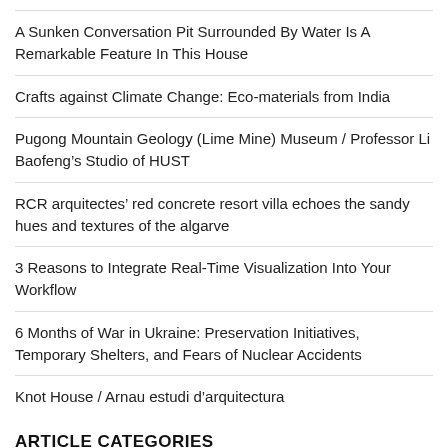A Sunken Conversation Pit Surrounded By Water Is A Remarkable Feature In This House
Crafts against Climate Change: Eco-materials from India
Pugong Mountain Geology (Lime Mine) Museum / Professor Li Baofeng’s Studio of HUST
RCR arquitectes’ red concrete resort villa echoes the sandy hues and textures of the algarve
3 Reasons to Integrate Real-Time Visualization Into Your Workflow
6 Months of War in Ukraine: Preservation Initiatives, Temporary Shelters, and Fears of Nuclear Accidents
Knot House / Arnau estudi d’arquitectura
ARTICLE CATEGORIES
Select Category